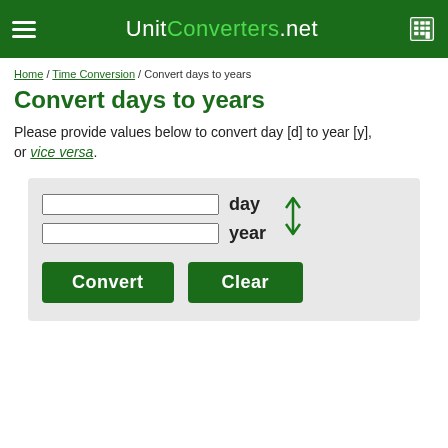UnitConverters.net
Home / Time Conversion / Convert days to years
Convert days to years
Please provide values below to convert day [d] to year [y], or vice versa.
[Figure (screenshot): Unit converter form with two input fields labeled 'day' and 'year', a bidirectional arrow between them, and Convert and Clear buttons on a light grey background.]